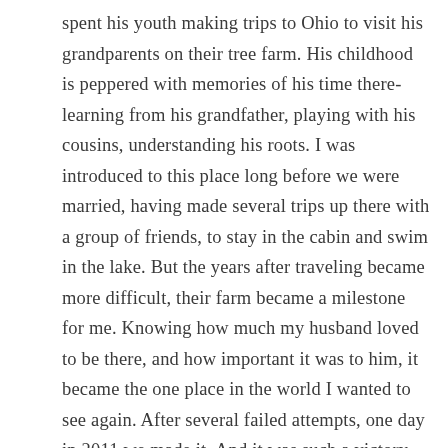spent his youth making trips to Ohio to visit his grandparents on their tree farm. His childhood is peppered with memories of his time there- learning from his grandfather, playing with his cousins, understanding his roots. I was introduced to this place long before we were married, having made several trips up there with a group of friends, to stay in the cabin and swim in the lake. But the years after traveling became more difficult, their farm became a milestone for me. Knowing how much my husband loved to be there, and how important it was to him, it became the one place in the world I wanted to see again. After several failed attempts, one day in 2011 we made it. And it was such a victory. We went out to the lake and I took a stone and I put it in my pocket… a reminder that God had answered my prayer.